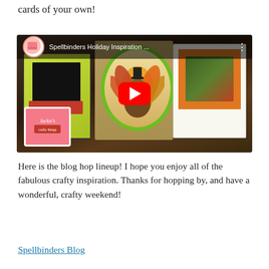cards of your own!
[Figure (screenshot): YouTube video thumbnail for 'Spellbinders Holiday Inspiration ...' showing three autumn/Thanksgiving handmade cards: a green card with fall leaves and a red banner, a center card with a turkey in an oval green frame on tan background, and a right card with orange frame and autumn leaves. A red YouTube play button is centered on the thumbnail. The channel avatar shows 'Jackie's' logo.]
Here is the blog hop lineup! I hope you enjoy all of the fabulous crafty inspiration. Thanks for hopping by, and have a wonderful, crafty weekend!
Spellbinders Blog